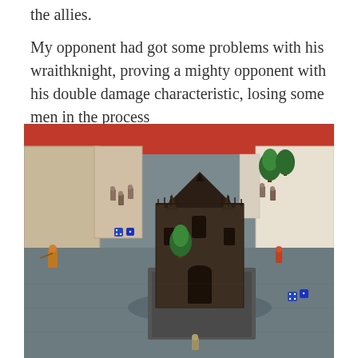the allies.

My opponent had got some problems with his wraithknight, proving a mighty opponent with his double damage characteristic, losing some men in the process
[Figure (photo): A tabletop wargame scene showing miniature figures on a grey mat battlefield. There is a dark gothic cathedral/chapel model in the center, foam walls forming corridors, miniature trees, and various small painted figures scattered around. Dice are visible on the table. The background shows a red barrier and white foam terrain pieces.]